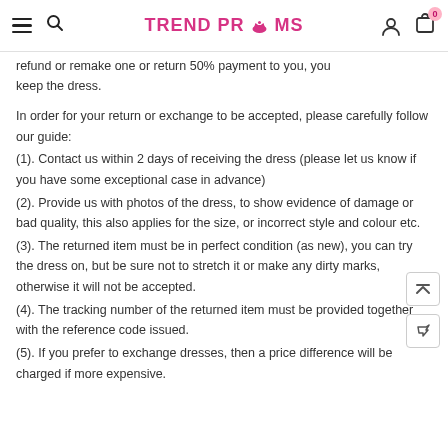TREND PROMS — Navigation header with hamburger menu, search, logo, user icon, and cart (0)
refund or remake one or return 50% payment to you, you keep the dress.
In order for your return or exchange to be accepted, please carefully follow our guide:
(1). Contact us within 2 days of receiving the dress (please let us know if you have some exceptional case in advance)
(2). Provide us with photos of the dress, to show evidence of damage or bad quality, this also applies for the size, or incorrect style and colour etc.
(3). The returned item must be in perfect condition (as new), you can try the dress on, but be sure not to stretch it or make any dirty marks, otherwise it will not be accepted.
(4). The tracking number of the returned item must be provided together with the reference code issued.
(5). If you prefer to exchange dresses, then a price difference will be charged if more expensive.